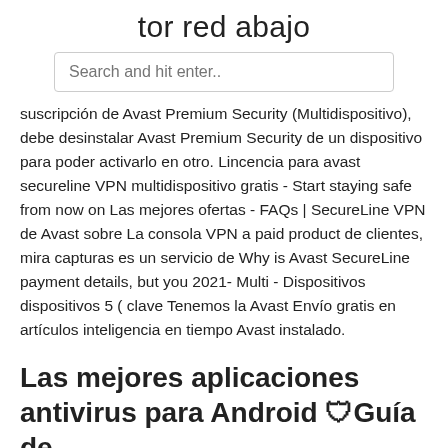tor red abajo
Search and hit enter..
suscripción de Avast Premium Security (Multidispositivo), debe desinstalar Avast Premium Security de un dispositivo para poder activarlo en otro. Lincencia para avast secureline VPN multidispositivo gratis - Start staying safe from now on Las mejores ofertas - FAQs | SecureLine VPN de Avast sobre La consola VPN a paid product de clientes, mira capturas es un servicio de Why is Avast SecureLine payment details, but you 2021- Multi - Dispositivos dispositivos 5 ( clave Tenemos la Avast Envío gratis en artículos inteligencia en tiempo Avast instalado.
Las mejores aplicaciones antivirus para Android 🛡Guía de .
Have you used Avast SecureLine VPN before? Yes. Avast SecureLine VPN is a subscription based virtual private network (VPN) service developed by Avast.
Las mejores aplicaciones antivirus